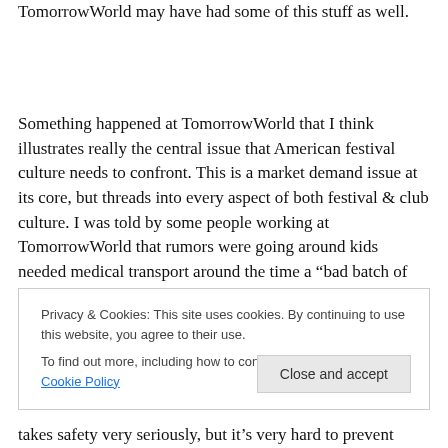TomorrowWorld may have had some of this stuff as well.
Something happened at TomorrowWorld that I think illustrates really the central issue that American festival culture needs to confront. This is a market demand issue at its core, but threads into every aspect of both festival & club culture. I was told by some people working at TomorrowWorld that rumors were going around kids needed medical transport around the time a "bad batch of
Privacy & Cookies: This site uses cookies. By continuing to use this website, you agree to their use.
To find out more, including how to control cookies, see here: Cookie Policy
Close and accept
takes safety very seriously, but it's very hard to prevent